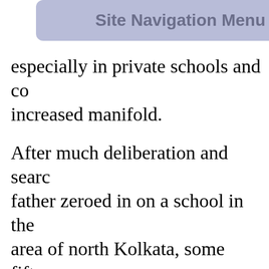Site Navigation Menu
especially in private schools and colleges has increased manifold.
After much deliberation and search, his father zeroed in on a school in the area of north Kolkata, some fifteen minutes bus ride away from their home, that he had only a meager source of income, had no other source of it than the salary from his factory -- and that he had